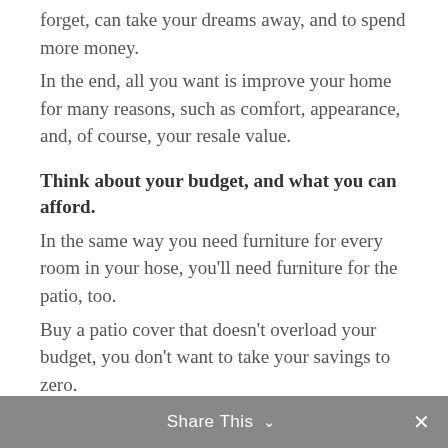forget, can take your dreams away, and to spend more money.
In the end, all you want is improve your home for many reasons, such as comfort, appearance, and, of course, your resale value.
Think about your budget, and what you can afford.
In the same way you need furniture for every room in your hose, you'll need furniture for the patio, too.
Buy a patio cover that doesn't overload your budget, you don't want to take your savings to zero.
If you have to borrow to get your patio
Share This ∨  ×